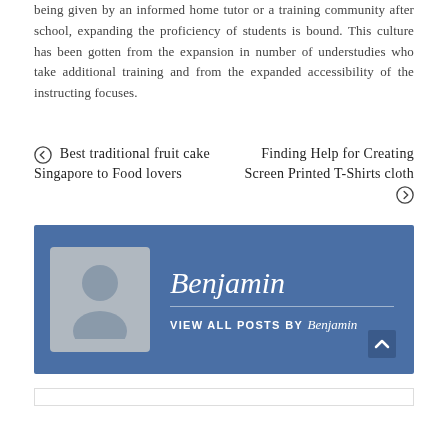being given by an informed home tutor or a training community after school, expanding the proficiency of students is bound. This culture has been gotten from the expansion in number of understudies who take additional training and from the expanded accessibility of the instructing focuses.
← Best traditional fruit cake Singapore to Food lovers
Finding Help for Creating Screen Printed T-Shirts cloth →
[Figure (other): Author bio box with gray avatar placeholder icon and blue background. Shows author name 'Benjamin' in italic serif font, a divider line, and 'VIEW ALL POSTS BY Benjamin' link. Scroll-to-top arrow in bottom right.]
Benjamin
VIEW ALL POSTS BY Benjamin